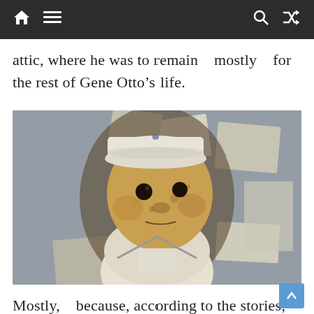Navigation bar with home, menu, search, and shuffle icons
attic, where he was to remain   mostly   for the rest of Gene Otto’s life.
[Figure (photo): Close-up photograph of Robert the Doll, a creepy antique doll with a weathered face, black button eyes, wearing a white sailor-style outfit and hat, displayed in what appears to be a museum case with papers/drawings in the background.]
Mostly,   because, according to the stories,